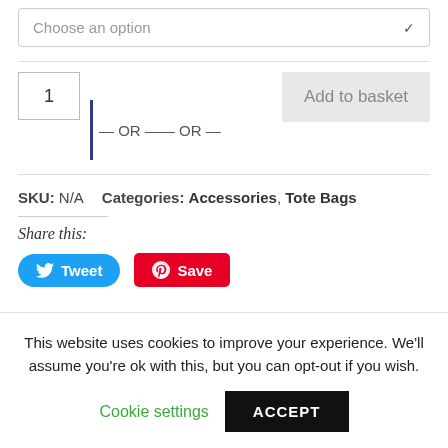Choose an option
1
— OR —— OR —
Add to basket
SKU: N/A   Categories: Accessories, Tote Bags
Share this:
Tweet
Save
This website uses cookies to improve your experience. We'll assume you're ok with this, but you can opt-out if you wish.
Cookie settings
ACCEPT